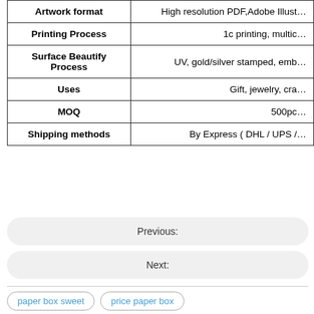|  |  |
| --- | --- |
| Artwork format | High resolution PDF,Adobe Illust... |
| Printing Process | 1c printing, multic... |
| Surface Beautify Process | UV, gold/silver stamped, emb... |
| Uses | Gift, jewelry, cra... |
| MOQ | 500pc... |
| Shipping methods | By Express ( DHL / UPS /... |
Previous:
Next:
paper box sweet
price paper box
paper box with ribbon
Custom Packaging Boxes Paper